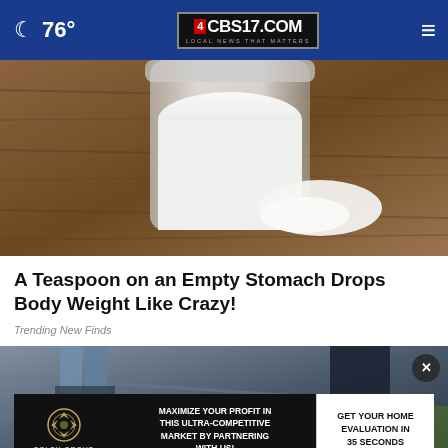76° CBS17.COM LOCAL NEWS THAT MATTERS
[Figure (photo): Close-up of a glass jar filled with white powder (possibly a dietary supplement or baking ingredient) sitting on a wooden surface, with some powder spilled beside it]
A Teaspoon on an Empty Stomach Drops Body Weight Like Crazy!
Trending New Finds
[Figure (photo): Street/outdoor scene showing people's legs and feet on what appears to be a deck or walkway, with an advertisement overlay for Coley Group real estate]
[Figure (infographic): Advertisement banner: MAXIMIZE YOUR PROFIT IN THIS ULTRA-COMPETITIVE MARKET BY PARTNERING WITH US! | GET YOUR HOME EVALUATION IN 35 SECONDS — Coley Group]